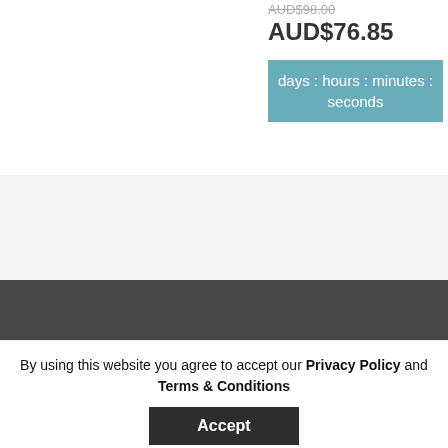AUD$76.85
days : hours : minutes : seconds
✉ Select Contact us above or call Australian HQ Queensland 07 3335 5608 Warehouses in: Australia / China / USA
AUD
+
Company Info
By using this website you agree to accept our Privacy Policy and Terms & Conditions
Accept